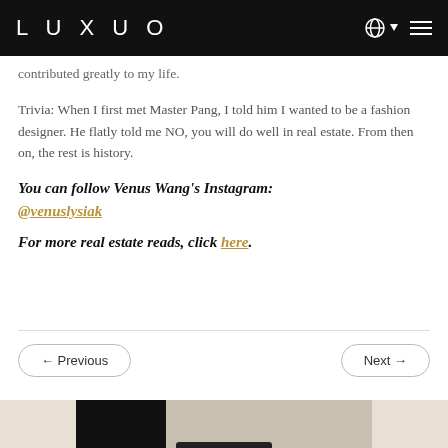LUXUO
…contributed greatly to my life.
Trivia: When I first met Master Pang, I told him I wanted to be a fashion designer. He flatly told me NO, you will do well in real estate. From then on, the rest is history.
You can follow Venus Wang's Instagram: @venuslysiak
For more real estate reads, click here.
← Previous
Next →
Back to top